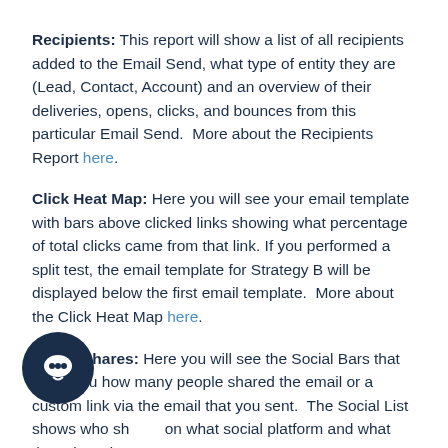Recipients: This report will show a list of all recipients added to the Email Send, what type of entity they are (Lead, Contact, Account) and an overview of their deliveries, opens, clicks, and bounces from this particular Email Send.  More about the Recipients Report here.
Click Heat Map: Here you will see your email template with bars above clicked links showing what percentage of total clicks came from that link. If you performed a split test, the email template for Strategy B will be displayed below the first email template.  More about the Click Heat Map here.
Social Shares: Here you will see the Social Bars that show you how many people shared the email or a custom link via the email that you sent.  The Social List shows who shared on what social platform and what they shared – whether it was the email or custom URL/tweet text.  Learn more about Social Sharing Statistics here.